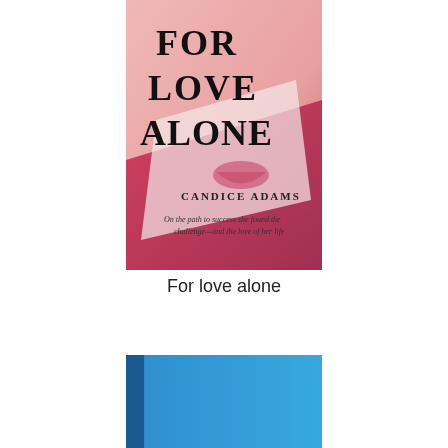[Figure (photo): Book cover of 'For Love Alone' by Candice Adams. Cover shows a pink/rose-toned image with large bold black text reading 'FOR LOVE ALONE', a hand writing on paper with a lipstick kiss mark visible, author name 'CANDICE ADAMS', and tagline in italic 'On the path to success she found the challenge—and the love of her life']
For love alone
[Figure (photo): Partial view of a second book with a blue/cyan cover, only the top portion visible at the bottom of the page.]